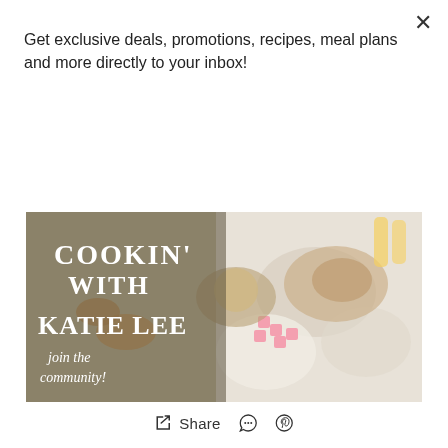Get exclusive deals, promotions, recipes, meal plans and more directly to your inbox!
Subscribe
[Figure (illustration): Cookin' with Katie Lee — join the community! Banner image showing brunch/food spread with text overlay on left side]
Share